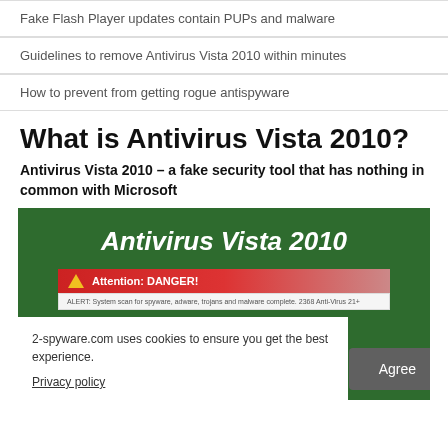Fake Flash Player updates contain PUPs and malware
Guidelines to remove Antivirus Vista 2010 within minutes
How to prevent from getting rogue antispyware
What is Antivirus Vista 2010?
Antivirus Vista 2010 – a fake security tool that has nothing in common with Microsoft
[Figure (screenshot): Screenshot of Antivirus Vista 2010 rogue security software interface showing green background with white bold italic title 'Antivirus Vista 2010' and a red 'Attention: DANGER!' alert bar with warning triangle icon, overlaid by a cookie consent popup from 2-spyware.com with Privacy policy link and Agree button.]